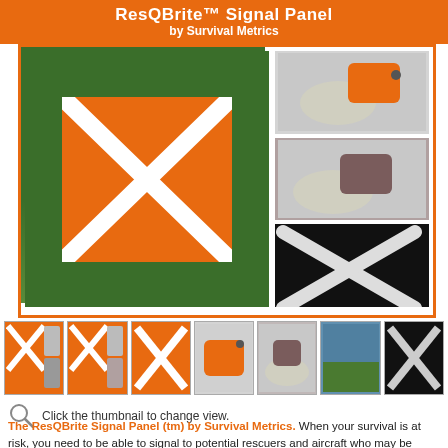ResQBrite™ Signal Panel by Survival Metrics
[Figure (photo): Main product image showing a man holding a large orange signal panel with white X, plus smaller images of the folded pouch versions and a black reflective panel]
[Figure (photo): Thumbnail strip showing 7 product thumbnails]
Click the thumbnail to change view.
The ResQBrite Signal Panel (tm) by Survival Metrics. When your survival is at risk, you need to be able to signal to potential rescuers and aircraft who may be looking for you. The ResQBrite Signal Panel (tm) by Survival Metrics is designed to complement